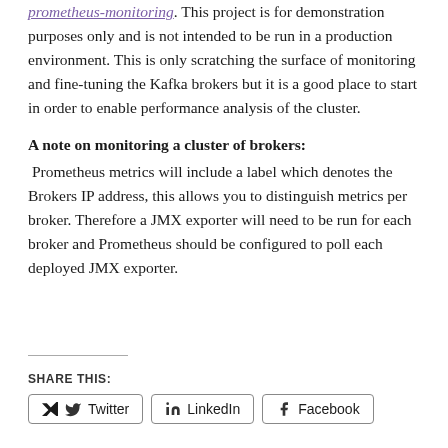prometheus-monitoring. This project is for demonstration purposes only and is not intended to be run in a production environment. This is only scratching the surface of monitoring and fine-tuning the Kafka brokers but it is a good place to start in order to enable performance analysis of the cluster.
A note on monitoring a cluster of brokers:
Prometheus metrics will include a label which denotes the Brokers IP address, this allows you to distinguish metrics per broker. Therefore a JMX exporter will need to be run for each broker and Prometheus should be configured to poll each deployed JMX exporter.
SHARE THIS:
Twitter  LinkedIn  Facebook